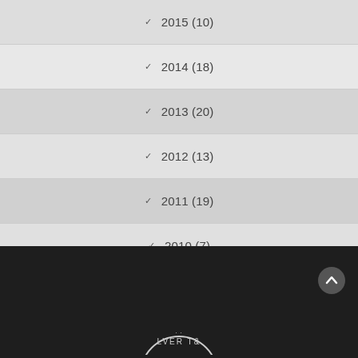2015 (10)
2014 (18)
2013 (20)
2012 (13)
2011 (19)
2010 (7)
[Figure (logo): Partial circular logo with text VER TR visible at bottom of page on dark footer]